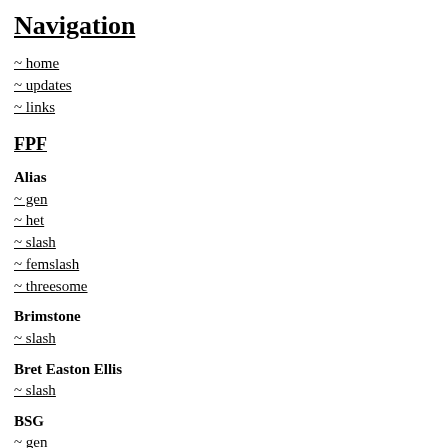Navigation
~ home
~ updates
~ links
FPF
Alias
~ gen
~ het
~ slash
~ femslash
~ threesome
Brimstone
~ slash
Bret Easton Ellis
~ slash
BSG
~ gen
~ het
~ slash
~ femslash
~ threesome
Buffy/Angel